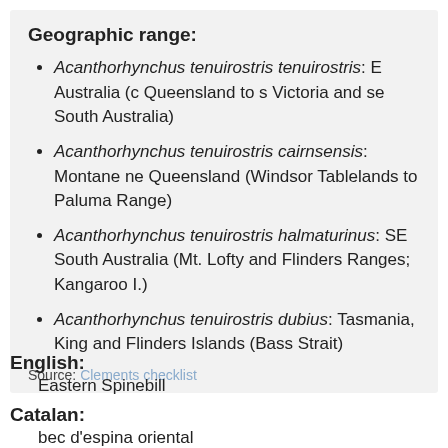Geographic range:
Acanthorhynchus tenuirostris tenuirostris: E Australia (c Queensland to s Victoria and se South Australia)
Acanthorhynchus tenuirostris cairnsensis: Montane ne Queensland (Windsor Tablelands to Paluma Range)
Acanthorhynchus tenuirostris halmaturinus: SE South Australia (Mt. Lofty and Flinders Ranges; Kangaroo I.)
Acanthorhynchus tenuirostris dubius: Tasmania, King and Flinders Islands (Bass Strait)
Source: Clements checklist
English:
Eastern Spinebill
Catalan:
bec d'espina oriental